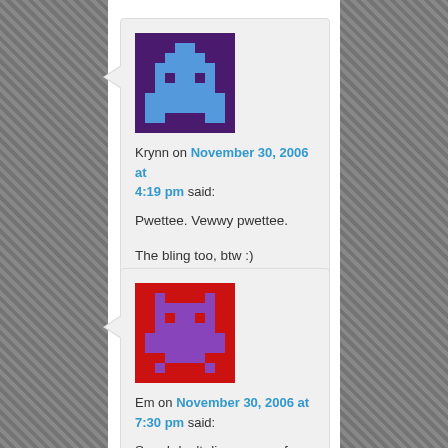Krynn on November 30, 2006 at 4:19 pm said: Pwettee. Vewwy pwettee.

The bling too, btw :)
Em on November 30, 2006 at 7:30 pm said: See, I don't disapprove of